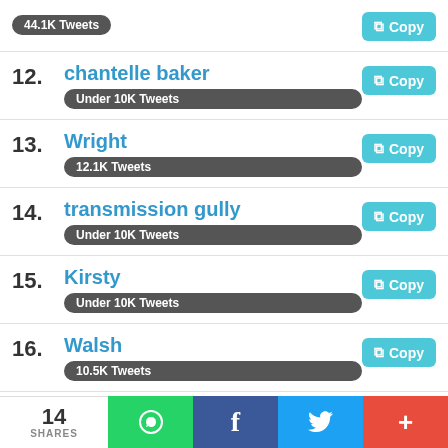44.1K Tweets (partial row, top)
12. chantelle baker — Under 10K Tweets
13. Wright — 12.1K Tweets
14. transmission gully — Under 10K Tweets
15. Kirsty — Under 10K Tweets
16. Walsh — 10.5K Tweets
17. Warriors — 37.5K Tweets
14 SHARES | WhatsApp | Facebook | Twitter | More